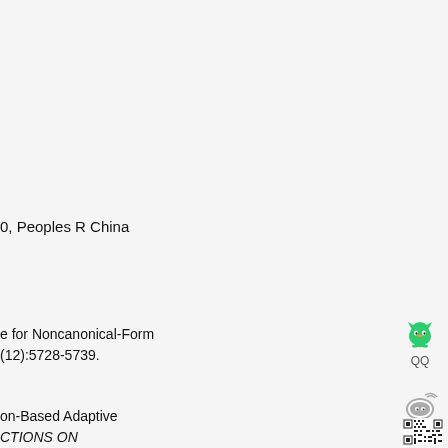0, Peoples R China
e for Noncanonical-Form
(12):5728-5739.
on-Based Adaptive
CTIONS ON
[Figure (logo): QQ social media icon - green bell/penguin shape with label QQ]
[Figure (logo): Weibo social media icon - grey swoosh/fan shape with label Weibo]
[Figure (other): QR code image]